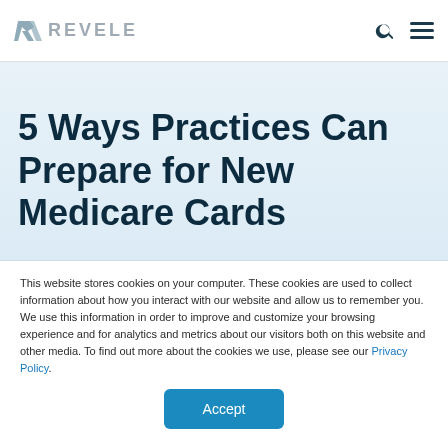REVELE
5 Ways Practices Can Prepare for New Medicare Cards
This website stores cookies on your computer. These cookies are used to collect information about how you interact with our website and allow us to remember you. We use this information in order to improve and customize your browsing experience and for analytics and metrics about our visitors both on this website and other media. To find out more about the cookies we use, please see our Privacy Policy.